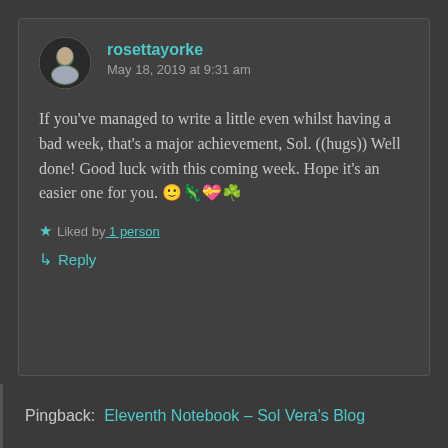rosettayorke
May 18, 2019 at 9:31 am
If you've managed to write a little even whilst having a bad week, that's a major achievement, Sol. ((hugs)) Well done! Good luck with this coming week. Hope it's an easier one for you. 🙂🦎💝☘️
★ Liked by 1 person
↳ Reply
Pingback:  Eleventh Notebook – Sol Vera's Blog